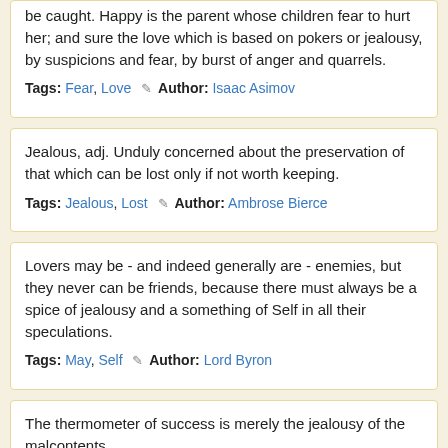be caught. ... pokers or jealousy, by suspicions and fear, by burst of anger and quarrels.
Tags: Fear, Love ✎ Author: Isaac Asimov
Jealous, adj. Unduly concerned about the preservation of that which can be lost only if not worth keeping.
Tags: Jealous, Lost ✎ Author: Ambrose Bierce
Lovers may be - and indeed generally are - enemies, but they never can be friends, because there must always be a spice of jealousy and a something of Self in all their speculations.
Tags: May, Self ✎ Author: Lord Byron
The thermometer of success is merely the jealousy of the malcontents.